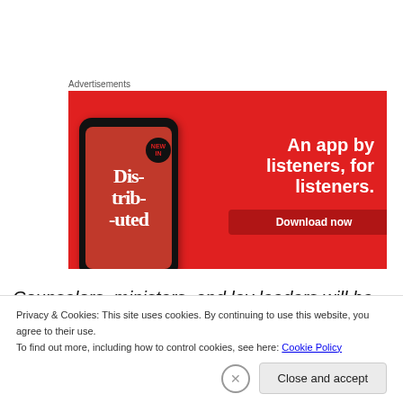Advertisements
[Figure (illustration): Red banner advertisement for a podcast/audio app. Shows a smartphone with 'Dis-tri-bu-ted' text on screen, with tagline 'An app by listeners, for listeners.' and a 'Download now' button.]
Counselors, ministers, and lay leaders will be empowered to have confidence in God's purpose for the
Privacy & Cookies: This site uses cookies. By continuing to use this website, you agree to their use.
To find out more, including how to control cookies, see here: Cookie Policy
Close and accept